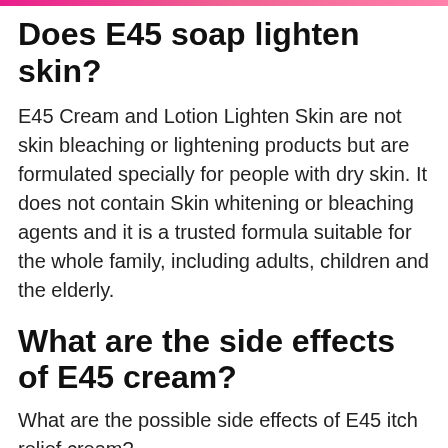Does E45 soap lighten skin?
E45 Cream and Lotion Lighten Skin are not skin bleaching or lightening products but are formulated specially for people with dry skin. It does not contain Skin whitening or bleaching agents and it is a trusted formula suitable for the whole family, including adults, children and the elderly.
What are the side effects of E45 cream?
What are the possible side effects of E45 itch relief cream?
Burning sensation.